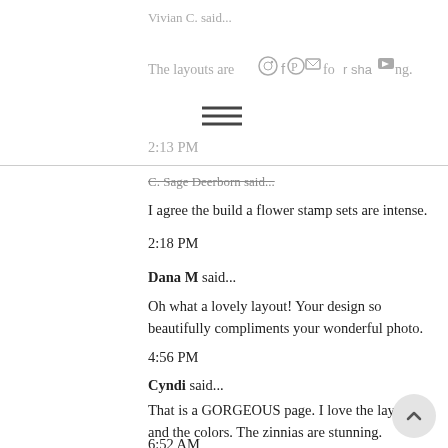Vivian C. said...
The layouts are beautiful. Thanks for sharing.
2:13 PM
[Figure (other): Social media share icons bar (Instagram, Facebook, Pinterest, Email, Twitter, YouTube) and hamburger menu icon]
C. Sage Deerborn said...
I agree the build a flower stamp sets are intense.
2:18 PM
Dana M said...
Oh what a lovely layout! Your design so beautifully compliments your wonderful photo.
4:56 PM
Cyndi said...
That is a GORGEOUS page. I love the layout and the colors. The zinnias are stunning.
6:52 AM